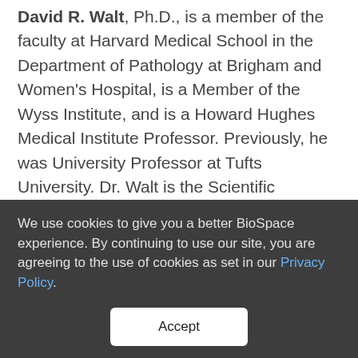David R. Walt, Ph.D., is a member of the faculty at Harvard Medical School in the Department of Pathology at Brigham and Women's Hospital, is a Member of the Wyss Institute, and is a Howard Hughes Medical Institute Professor. Previously, he was University Professor at Tufts University. Dr. Walt is the Scientific Founder of Illumina and Quanterix and has co-founded several other life sciences startups including Ultivue and Arbor Biotechnologies. He is a member of the National
We use cookies to give you a better BioSpace experience. By continuing to use our site, you are agreeing to the use of cookies as set in our Privacy Policy.